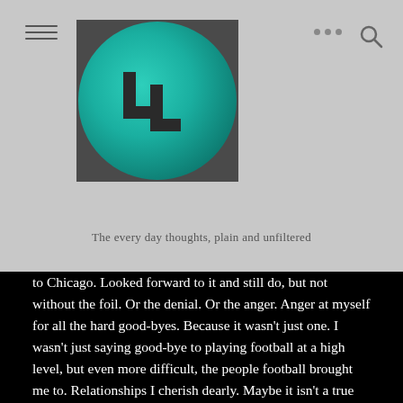[Figure (logo): Circular teal/green gradient logo with two overlapping L-shaped letters in dark gray/black on a square dark background]
The every day thoughts, plain and unfiltered
to Chicago. Looked forward to it and still do, but not without the foil. Or the denial. Or the anger. Anger at myself for all the hard good-byes. Because it wasn't just one. I wasn't just saying good-bye to playing football at a high level, but even more difficult, the people football brought me to. Relationships I cherish dearly. Maybe it isn't a true good-bye for some but a see you later. Or maybe it really is a good-bye. The thing is only time will tell. Time is up for now. The pain is raw but so is the beauty. I would rather be in pain from love than indifference from fear. Rather feel deeply the fullness of life. Burn up the candle and smell all the smells. I'll be disappointed when they're gone because of how amazing the time was but know the disappointment will soon give way to stronger things, joy and hope. Joy from living the moments so fully they will always be a part of me and hope there are more to come. More flour and oil. The widow trusted Elijah. Trusted the Lord would provide when she had nothing